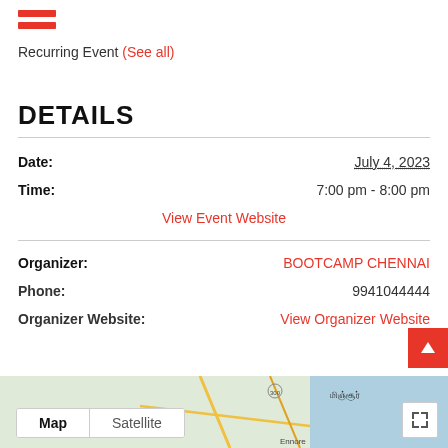[Figure (illustration): Hamburger menu icon with two red horizontal bars]
Recurring Event (See all)
DETAILS
| Date: | July 4, 2023 |
| Time: | 7:00 pm - 8:00 pm |
|  | View Event Website |
| Organizer: | BOOTCAMP CHENNAI |
| Phone: | 9941044444 |
| Organizer Website: | View Organizer Website |
[Figure (map): Google Maps with Map and Satellite tabs, showing a region near Ennore/Mysore]